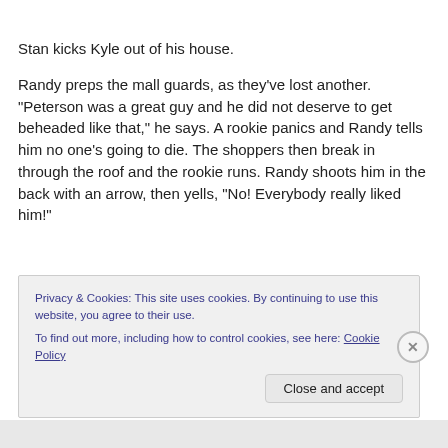Stan kicks Kyle out of his house.
Randy preps the mall guards, as they’ve lost another. “Peterson was a great guy and he did not deserve to get beheaded like that,” he says. A rookie panics and Randy tells him no one’s going to die. The shoppers then break in through the roof and the rookie runs. Randy shoots him in the back with an arrow, then yells, “No! Everybody really liked him!”
Privacy & Cookies: This site uses cookies. By continuing to use this website, you agree to their use.
To find out more, including how to control cookies, see here: Cookie Policy
Close and accept